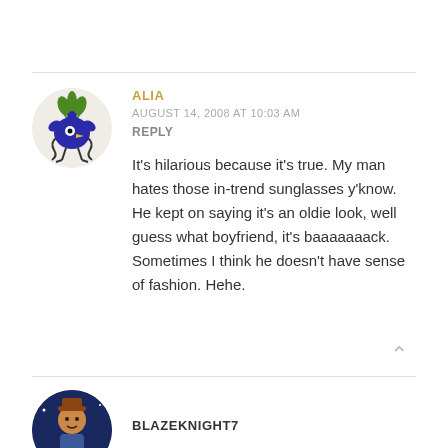[Figure (illustration): Circular avatar icon showing a cartoon blue flower/creature with green leaves on top, black curly tendrils, yellow beak, and stick legs on a light beige background]
ALIA
AUGUST 14, 2008 AT 10:03 AM
REPLY
It’s hilarious because it’s true. My man hates those in-trend sunglasses y’know. He kept on saying it’s an oldie look, well guess what boyfriend, it’s baaaaaaack. Sometimes I think he doesn’t have sense of fashion. Hehe.
[Figure (illustration): Circular avatar showing a cartoon character resembling a cowboy/anime figure on a dark blue/space background]
BLAZEKNIGHT7